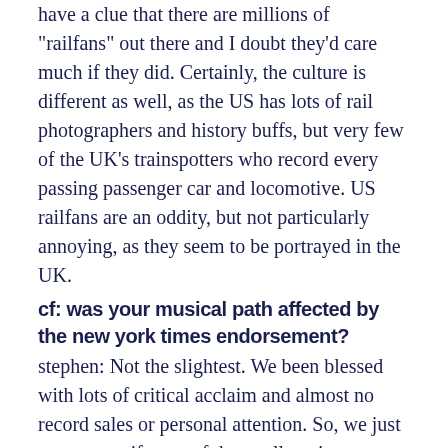have a clue that there are millions of "railfans" out there and I doubt they'd care much if they did. Certainly, the culture is different as well, as the US has lots of rail photographers and history buffs, but very few of the UK's trainspotters who record every passing passenger car and locomotive. US railfans are an oddity, but not particularly annoying, as they seem to be portrayed in the UK.
cf: was your musical path affected by the new york times endorsement?
stephen: Not the slightest. We been blessed with lots of critical acclaim and almost no record sales or personal attention. So, we just carry on as if none of that really exists, working in our basement studio as time permits.
cf: do you still have a turntable and if so what's on it?
stephen: Yes. The Huck-a-Bucks "chronic breakdown" 2xLP — a classic mid-90s go-go record. Like all DC kids, I